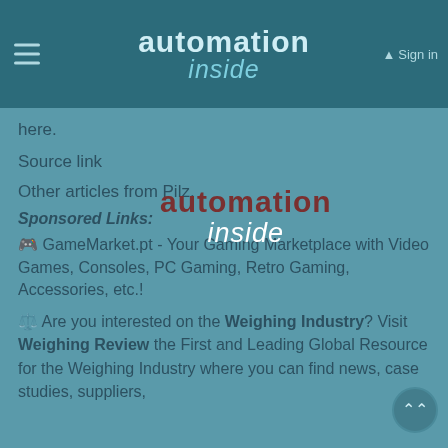automation inside — Sign in
here.
Source link
Other articles from Pilz.
[Figure (logo): automation inside logo watermark overlay]
Sponsored Links:
🎮 GameMarket.pt - Your Gaming Marketplace with Video Games, Consoles, PC Gaming, Retro Gaming, Accessories, etc.!
⚖ Are you interested on the Weighing Industry? Visit Weighing Review the First and Leading Global Resource for the Weighing Industry where you can find news, case studies, suppliers,